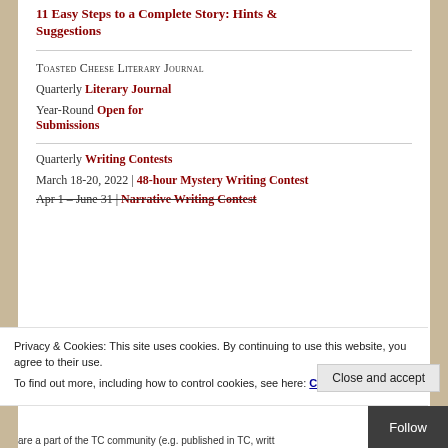11 Easy Steps to a Complete Story: Hints & Suggestions
Toasted Cheese Literary Journal
Quarterly Literary Journal
Year-Round Open for Submissions
Quarterly Writing Contests
March 18-20, 2022 | 48-hour Mystery Writing Contest
Apr 1 – June 31 | Narrative Writing Contest
Privacy & Cookies: This site uses cookies. By continuing to use this website, you agree to their use. To find out more, including how to control cookies, see here: Cookie Policy
are a part of the TC community (e.g. published in TC, writt...